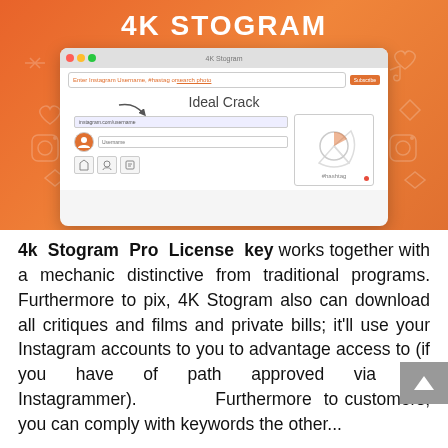[Figure (screenshot): 4K Stogram app banner with orange gradient background, decorative icons, and a software screenshot showing username/hashtag search interface with 'Ideal Crack' text]
4k Stogram Pro License key works together with a mechanic distinctive from traditional programs. Furthermore to pix, 4K Stogram also can download all critiques and films and private bills; it’ll use your Instagram accounts to you to advantage access to (if you have of path approved via the Instagrammer). Furthermore to customers, you can comply with keywords the other...